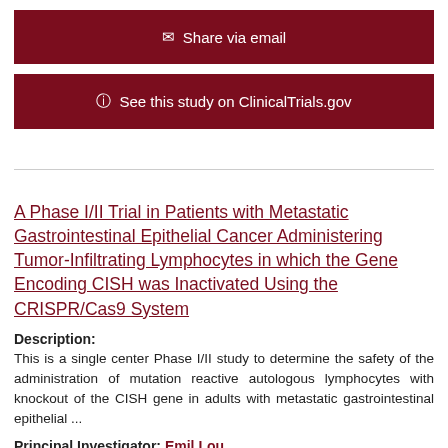[Figure (other): Dark red button: envelope icon followed by 'Share via email']
[Figure (other): Dark red button: info icon followed by 'See this study on ClinicalTrials.gov']
A Phase I/II Trial in Patients with Metastatic Gastrointestinal Epithelial Cancer Administering Tumor-Infiltrating Lymphocytes in which the Gene Encoding CISH was Inactivated Using the CRISPR/Cas9 System
Description:
This is a single center Phase I/II study to determine the safety of the administration of mutation reactive autologous lymphocytes with knockout of the CISH gene in adults with metastatic gastrointestinal epithelial ...
Principal Investigator: Emil Lou
Sex: All